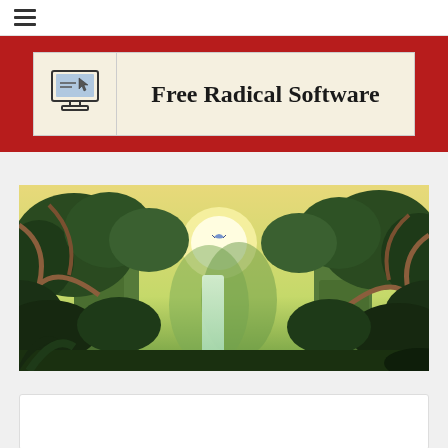≡ (hamburger menu icon)
[Figure (logo): Free Radical Software logo banner: cream/beige background with a laptop computer icon on the left and the text 'Free Radical Software' in bold handwritten/comic style font, set on a dark red background.]
[Figure (illustration): Cartoon jungle illustration showing dense tropical trees, cliffs, a waterfall in the center, a bright sun, flying pterodactyl-like bird, lush green foliage with warm yellow-green sky background.]
[Figure (other): Partially visible white card/panel at the bottom of the page.]